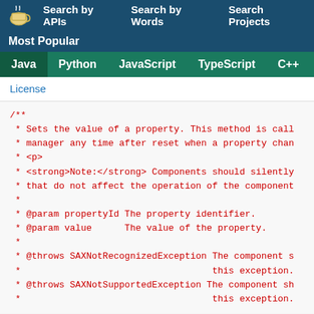Search by APIs  Search by Words  Search Projects
Most Popular
Java  Python  JavaScript  TypeScript  C++  Scala
License
/**
 * Sets the value of a property. This method is call
 * manager any time after reset when a property chan
 * <p>
 * <strong>Note:</strong> Components should silently
 * that do not affect the operation of the component
 *
 * @param propertyId The property identifier.
 * @param value      The value of the property.
 *
 * @throws SAXNotRecognizedException The component s
 *                                   this exception.
 * @throws SAXNotSupportedException The component sh
 *                                   this exception.